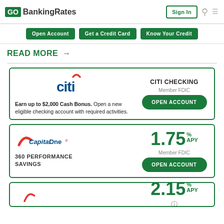GO BankingRates | Sign In
Open Account | Get a Credit Card | Know Your Credit
READ MORE →
CITI CHECKING Member FDIC — Earn up to $2,000 Cash Bonus. Open a new eligible checking account with required activities. OPEN ACCOUNT
Capital One 360 PERFORMANCE SAVINGS 1.75% APY Member FDIC OPEN ACCOUNT
2.15% APY (partial)